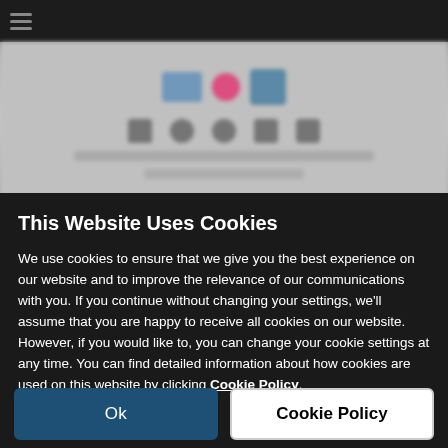[Figure (screenshot): Blurred website background showing a dark navigation bar, logo area with blue and colored elements, social media icons, and blurred text content beneath]
This Website Uses Cookies
We use cookies to ensure that we give you the best experience on our website and to improve the relevance of our communications with you. If you continue without changing your settings, we'll assume that you are happy to receive all cookies on our website. However, if you would like to, you can change your cookie settings at any time. You can find detailed information about how cookies are used on this website by clicking Cookie Policy.
Ok
Cookie Policy